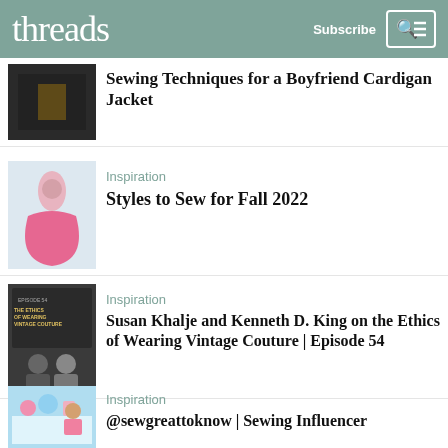threads | Subscribe
Sewing Techniques for a Boyfriend Cardigan Jacket
Inspiration
Styles to Sew for Fall 2022
[Figure (photo): Pink floral ballgown dress on a mannequin]
Inspiration
Susan Khalje and Kenneth D. King on the Ethics of Wearing Vintage Couture | Episode 54
[Figure (photo): Podcast cover: The Ethics of Wearing Vintage Couture with two people]
Inspiration
@sewgreattoknow | Sewing Influencer
[Figure (photo): Woman at a sewing/crafting table with pink and teal decorations]